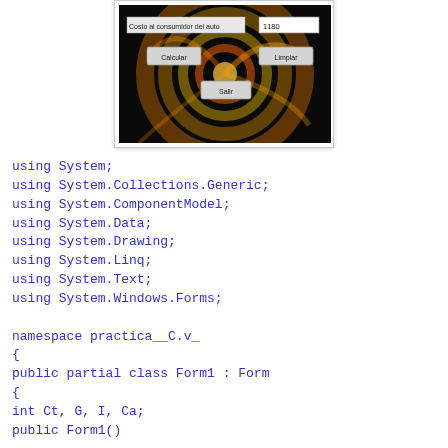[Figure (screenshot): A Windows Forms application UI with dark swirling orange/yellow background. Shows a label 'Costo al consumidor del auto' with a text field showing '1180', two buttons labeled 'Calcular' and 'Limpiar', and a button 'Salir'.]
using System;
using System.Collections.Generic;
using System.ComponentModel;
using System.Data;
using System.Drawing;
using System.Linq;
using System.Text;
using System.Windows.Forms;

namespace practica__C.v_
{
public partial class Form1 : Form
{
int Ct, G, I, Ca;
public Form1()